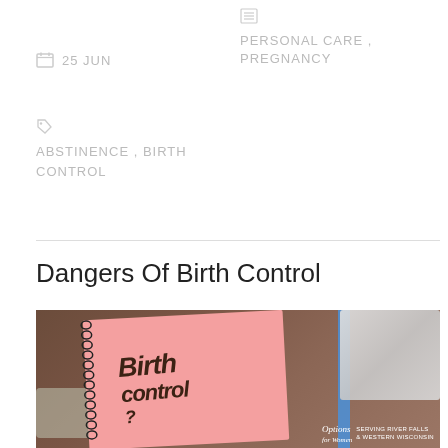25 JUN
PERSONAL CARE , PREGNANCY
ABSTINENCE , BIRTH CONTROL
Dangers Of Birth Control
[Figure (photo): A pink spiral notebook with 'Birth control?' written in handwriting, surrounded by contraceptive pills and a condom packet on a wooden surface. Options for Women logo at bottom right.]